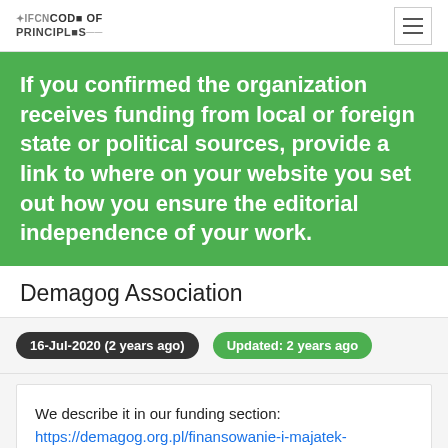IFCN CODE OF PRINCIPLES
If you confirmed the organization receives funding from local or foreign state or political sources, provide a link to where on your website you set out how you ensure the editorial independence of your work.
Demagog Association
16-Jul-2020 (2 years ago)   Updated: 2 years ago
We describe it in our funding section: https://demagog.org.pl/finansowanie-i-majatek-stowarzyszenia-demagog/